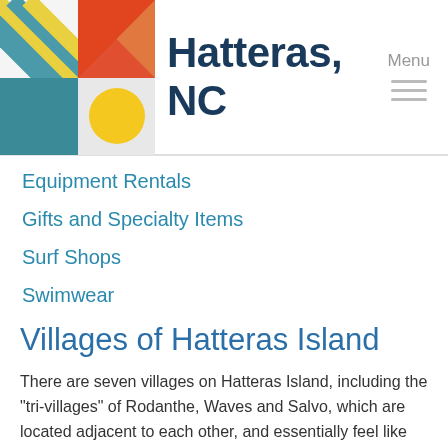Hatteras, NC
Equipment Rentals
Gifts and Specialty Items
Surf Shops
Swimwear
Villages of Hatteras Island
There are seven villages on Hatteras Island, including the "tri-villages" of Rodanthe, Waves and Salvo, which are located adjacent to each other, and essentially feel like one, long town.
Northern Beaches
1. Carova
2. Corolla